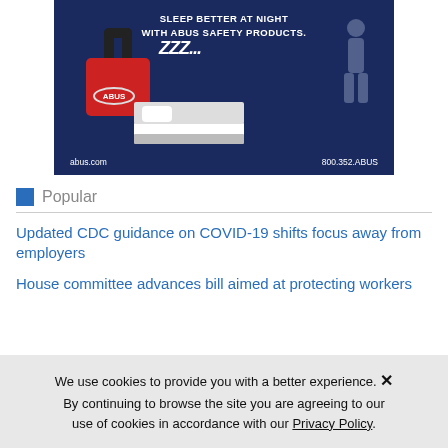[Figure (illustration): ABUS advertisement showing a red padlock with 'ABUS' logo, Zzz text, stylized bed illustration, silhouette figure in dark blue background. Text reads: SLEEP BETTER AT NIGHT WITH ABUS SAFETY PRODUCTS. abus.com  800.352.ABUS]
Popular
Updated CDC guidance on COVID-19 shifts focus away from employers
House committee advances bill aimed at protecting workers
We use cookies to provide you with a better experience. By continuing to browse the site you are agreeing to our use of cookies in accordance with our Privacy Policy.